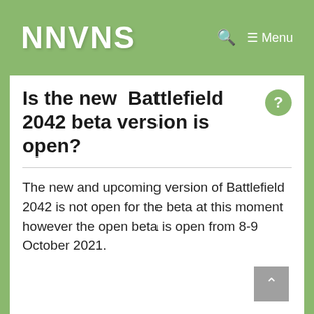NNVNS
Is the new Battlefield 2042 beta version is open?
The new and upcoming version of Battlefield 2042 is not open for the beta at this moment however the open beta is open from 8-9 October 2021.